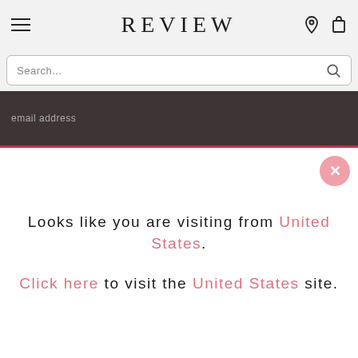REVIEW
Search...
email address
Looks like you are visiting from United States. Click here to visit the United States site.